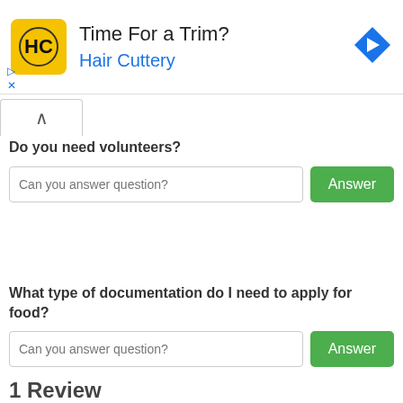[Figure (screenshot): Hair Cuttery advertisement banner with yellow HC logo, text 'Time For a Trim?' and 'Hair Cuttery' in blue, and a blue diamond navigation arrow icon]
Do you need volunteers?
Can you answer question?
What type of documentation do I need to apply for food?
Can you answer question?
1 Review